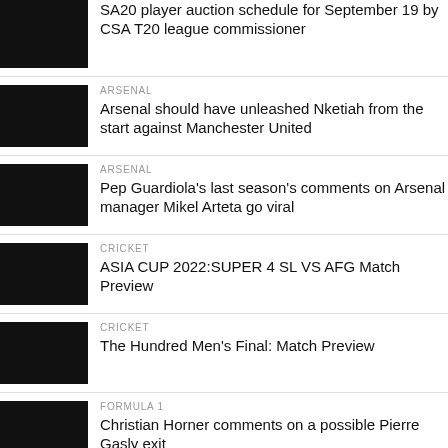SA20 player auction schedule for September 19 by CSA T20 league commissioner
ARSENAL
Arsenal should have unleashed Nketiah from the start against Manchester United
ARSENAL
Pep Guardiola's last season's comments on Arsenal manager Mikel Arteta go viral
CRICKET
ASIA CUP 2022:SUPER 4 SL VS AFG Match Preview
CRICKET
The Hundred Men's Final: Match Preview
FORMULA 1
Christian Horner comments on a possible Pierre Gasly exit
CHELSEA
Chelsea new acquisition will wear this shirt